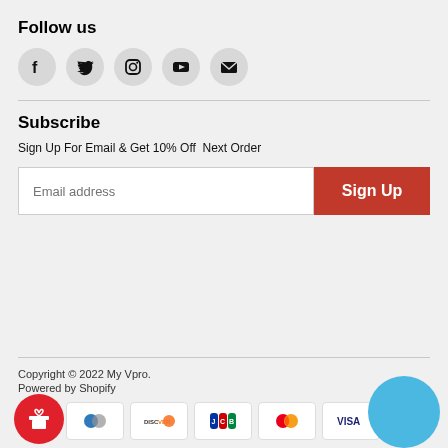Follow us
[Figure (infographic): Social media icons: Facebook, Twitter, Instagram, YouTube, Email — each in a grey circle]
Subscribe
Sign Up For Email & Get 10% Off  Next Order
[Figure (infographic): Email address input field and Sign Up button]
Copyright © 2022 My Vpro.
Powered by Shopify
[Figure (infographic): Payment method icons: Diners Club, Discover, JCB, Mastercard, Visa; gift button and blue circle widget]